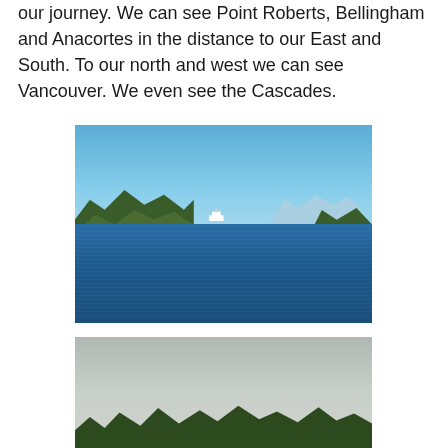our journey. We can see Point Roberts, Bellingham and Anacortes in the distance to our East and South. To our north and west we can see Vancouver. We even see the Cascades.
[Figure (photo): Photograph of a calm blue sea channel between two forested rocky islands, with a white ferry boat visible in the middle distance. Blue sky with light clouds above, mountains faintly visible on the horizon in the background.]
[Figure (photo): Photograph taken on an overcast day showing a grey sky and the tops of dark conifer trees (fir or pine) in the foreground.]